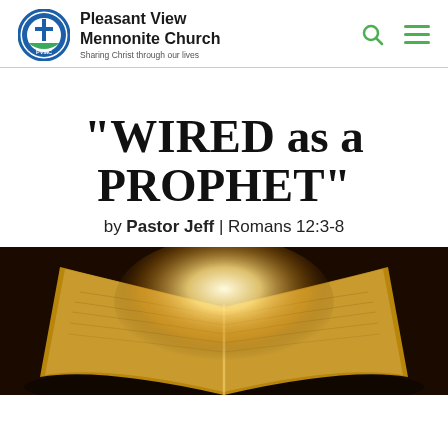Pleasant View Mennonite Church – Sharing Christ through our lives
"WIRED as a PROPHET"
by Pastor Jeff | Romans 12:3-8
[Figure (photo): Open Bible with glowing light from its center pages, warm lighting, photographed from a slight angle above]